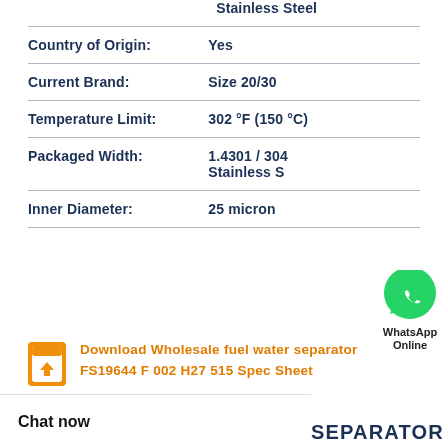| Property | Value |
| --- | --- |
|  | Stainless Steel |
| Country of Origin: | Yes |
| Current Brand: | Size 20/30 |
| Temperature Limit: | 302 °F (150 °C) |
| Packaged Width: | 1.4301 / 304 Stainless S… |
| Inner Diameter: | 25 micron… |
[Figure (logo): WhatsApp green circle icon with phone handset, labeled 'WhatsApp Online']
Download Wholesale fuel water separator FS19644 F 002 H27 515 Spec Sheet
Chat now